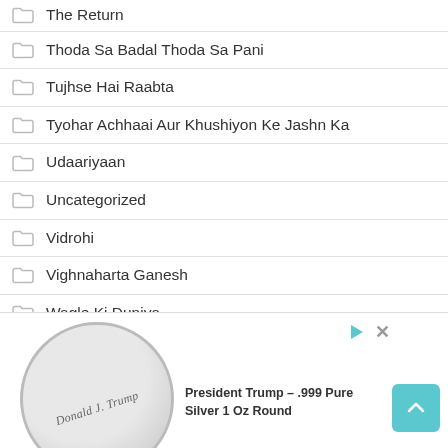The Return
Thoda Sa Badal Thoda Sa Pani
Tujhse Hai Raabta
Tyohar Achhaai Aur Khushiyon Ke Jashn Ka
Udaariyaan
Uncategorized
Vidrohi
Vighnaharta Ganesh
Wagle Ki Duniya
Wild Villa
Yeh Hai Chahatein
Yeh Jhuki Jhuki Si Nazar
Yeh Rishta Kya Kehlata Hai
Zakm
Zee